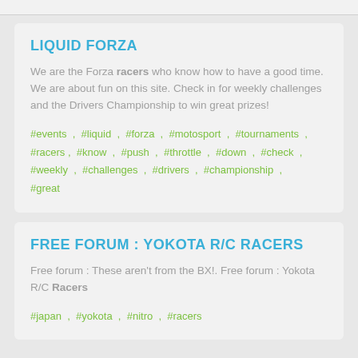LIQUID FORZA
We are the Forza racers who know how to have a good time. We are about fun on this site. Check in for weekly challenges and the Drivers Championship to win great prizes!
#events , #liquid , #forza , #motosport , #tournaments , #racers , #know , #push , #throttle , #down , #check , #weekly , #challenges , #drivers , #championship , #great
FREE FORUM : YOKOTA R/C RACERS
Free forum : These aren't from the BX!. Free forum : Yokota R/C Racers
#japan , #yokota , #nitro , #racers